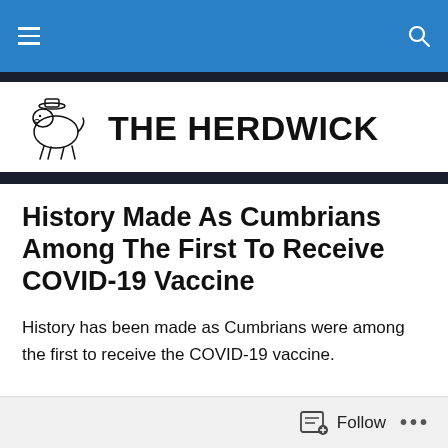THE HERDWICK – navigation bar with hamburger menu and search icon
[Figure (logo): The Herdwick logo: outline illustration of a Herdwick sheep wearing a hat, alongside bold text reading THE HERDWICK]
History Made As Cumbrians Among The First To Receive COVID-19 Vaccine
History has been made as Cumbrians were among the first to receive the COVID-19 vaccine.
Follow • • •